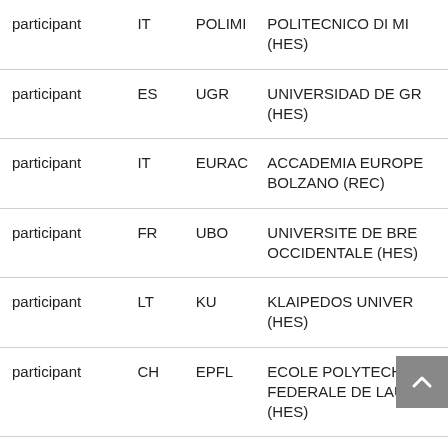| participant | IT | POLIMI | POLITECNICO DI MI (HES) |
| participant | ES | UGR | UNIVERSIDAD DE GR (HES) |
| participant | IT | EURAC | ACCADEMIA EUROPE BOLZANO (REC) |
| participant | FR | UBO | UNIVERSITE DE BRE OCCIDENTALE (HES) |
| participant | LT | KU | KLAIPEDOS UNIVER (HES) |
| participant | CH | EPFL | ECOLE POLYTECHN FEDERALE DE LAUSA (HES) |
| participant | NO | UiB | UNIVERSITETET I B (HES) |
| participant | CH | UNICE | UNIVERSITE DE GE... |